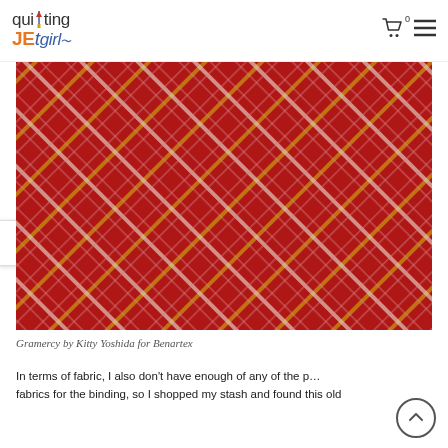quilting JET girl — navigation with cart icon and hamburger menu
[Figure (photo): Close-up photograph of red diagonal plaid fabric (Gramercy by Kitty Yoshida for Benartex) with cream, gold, and pink grid lines on a deep red background]
Gramercy by Kitty Yoshida for Benartex
In terms of fabric, I also don't have enough of any of the p… fabrics for the binding, so I shopped my stash and found this old